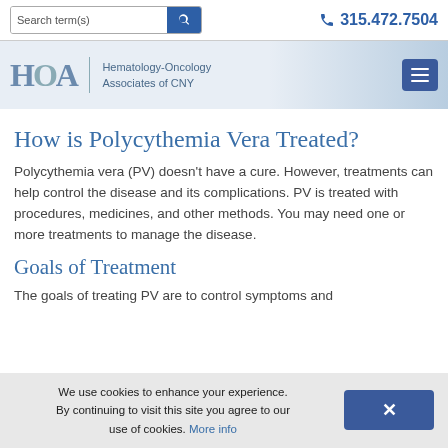Search term(s)  315.472.7504
[Figure (logo): HOA - Hematology-Oncology Associates of CNY logo with menu button]
How is Polycythemia Vera Treated?
Polycythemia vera (PV) doesn't have a cure. However, treatments can help control the disease and its complications. PV is treated with procedures, medicines, and other methods. You may need one or more treatments to manage the disease.
Goals of Treatment
The goals of treating PV are to control symptoms and
We use cookies to enhance your experience. By continuing to visit this site you agree to our use of cookies. More info